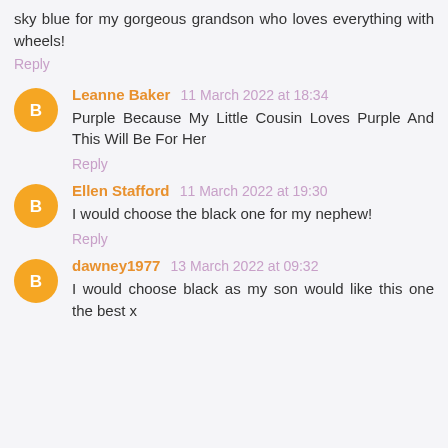sky blue for my gorgeous grandson who loves everything with wheels!
Reply
Leanne Baker 11 March 2022 at 18:34
Purple Because My Little Cousin Loves Purple And This Will Be For Her
Reply
Ellen Stafford 11 March 2022 at 19:30
I would choose the black one for my nephew!
Reply
dawney1977 13 March 2022 at 09:32
I would choose black as my son would like this one the best x